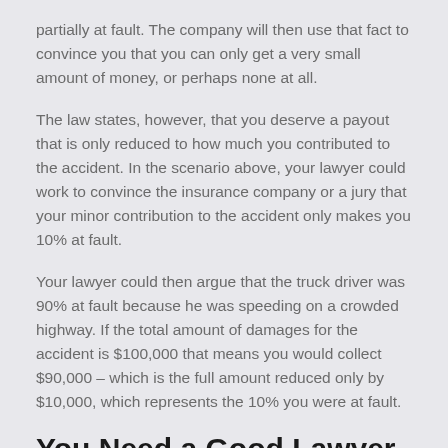partially at fault. The company will then use that fact to convince you that you can only get a very small amount of money, or perhaps none at all.
The law states, however, that you deserve a payout that is only reduced to how much you contributed to the accident. In the scenario above, your lawyer could work to convince the insurance company or a jury that your minor contribution to the accident only makes you 10% at fault.
Your lawyer could then argue that the truck driver was 90% at fault because he was speeding on a crowded highway. If the total amount of damages for the accident is $100,000 that means you would collect $90,000 – which is the full amount reduced only by $10,000, which represents the 10% you were at fault.
You Need a Good Lawyer on